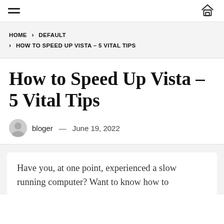Navigation bar with hamburger menu and home icon
HOME > DEFAULT > HOW TO SPEED UP VISTA – 5 VITAL TIPS
How to Speed Up Vista – 5 Vital Tips
bloger — June 19, 2022
Have you, at one point, experienced a slow running computer? Want to know how to